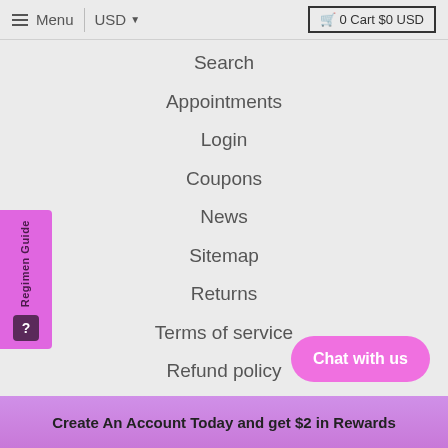Menu  USD  0 Cart $0 USD
Search
Appointments
Login
Coupons
News
Sitemap
Returns
Terms of service
Refund policy
Featured collections
Browse our popular products
Home
Chat with us
Create An Account Today and get $2 in Rewards